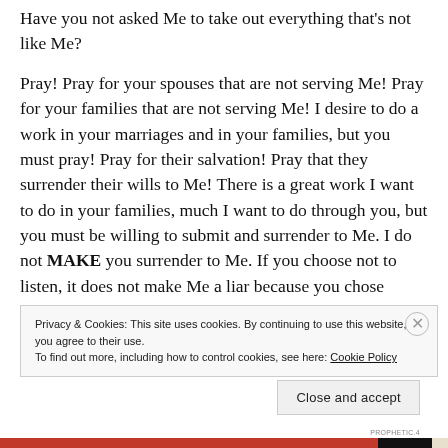Have you not asked Me to take out everything that's not like Me?
Pray! Pray for your spouses that are not serving Me! Pray for your families that are not serving Me! I desire to do a work in your marriages and in your families, but you must pray! Pray for their salvation! Pray that they surrender their wills to Me! There is a great work I want to do in your families, much I want to do through you, but you must be willing to submit and surrender to Me. I do not MAKE you surrender to Me. If you choose not to listen, it does not make Me a liar because you chose
Privacy & Cookies: This site uses cookies. By continuing to use this website, you agree to their use.
To find out more, including how to control cookies, see here: Cookie Policy
Close and accept